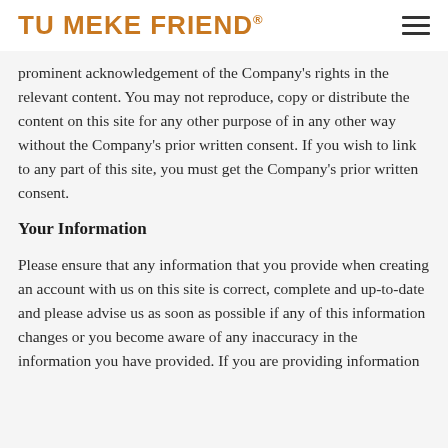TU MEKE FRIEND®
prominent acknowledgement of the Company's rights in the relevant content. You may not reproduce, copy or distribute the content on this site for any other purpose of in any other way without the Company's prior written consent. If you wish to link to any part of this site, you must get the Company's prior written consent.
Your Information
Please ensure that any information that you provide when creating an account with us on this site is correct, complete and up-to-date and please advise us as soon as possible if any of this information changes or you become aware of any inaccuracy in the information you have provided. If you are providing information